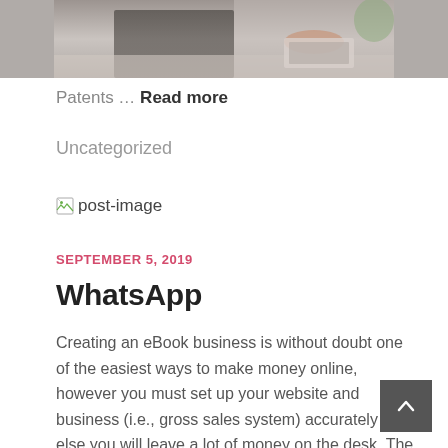[Figure (photo): Partial photo of a person at a desk, cropped at top of page]
Patents … Read more
Uncategorized
[Figure (illustration): Small broken image icon with alt text 'post-image']
SEPTEMBER 5, 2019
WhatsApp
Creating an eBook business is without doubt one of the easiest ways to make money online, however you must set up your website and business (i.e., gross sales system) accurately or else you will leave a lot of money on the desk. The problem lies not in lack of interest, however in a tension between the tutorial historical neighborhood and both the studying…